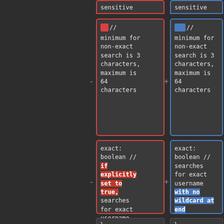[Figure (screenshot): Diff view of code comparing two versions. Left column (red border) shows old version with red highlighted removed text; right column (blue border) shows new version with blue highlighted added text. Top partial strip shows 'sensitive'. Main upper cells show comment about minimum/maximum search character limits. Lower cells show 'exact: boolean' parameter with changes: left removes 'if explicitly set to true,' text (red highlight), right adds 'with no wildcard at end' (blue highlight). Bottom strip shows closing brace.]